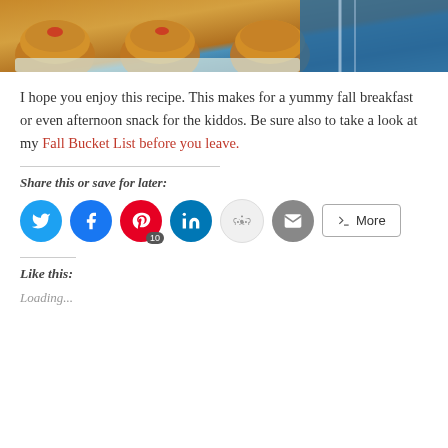[Figure (photo): Top portion of a photo showing muffins in a baking tin with a blue striped cloth/towel]
I hope you enjoy this recipe. This makes for a yummy fall breakfast or even afternoon snack for the kiddos. Be sure also to take a look at my Fall Bucket List before you leave.
Share this or save for later:
[Figure (infographic): Social sharing buttons: Twitter, Facebook, Pinterest (10), LinkedIn, Reddit, Email, More]
Like this:
Loading...